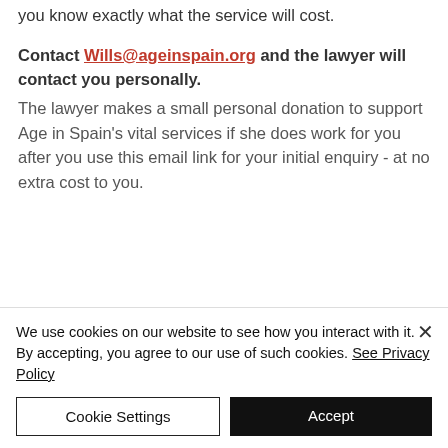you know exactly what the service will cost.
Contact Wills@ageinspain.org and the lawyer will contact you personally. The lawyer makes a small personal donation to support Age in Spain's vital services if she does work for you after you use this email link for your initial enquiry - at no extra cost to you.
We use cookies on our website to see how you interact with it. By accepting, you agree to our use of such cookies. See Privacy Policy
Cookie Settings
Accept